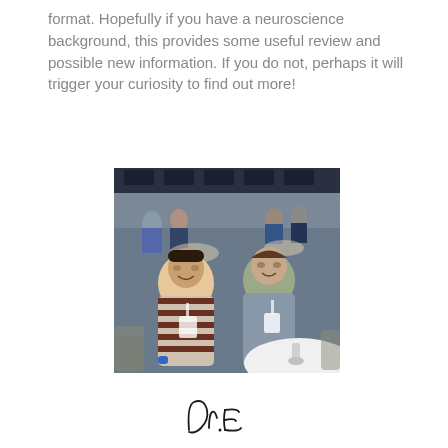format. Hopefully if you have a neuroscience background, this provides some useful review and possible new information. If you do not, perhaps it will trigger your curiosity to find out more!
[Figure (photo): Two men sitting at a round table at what appears to be a conference or event. The man on the left is wearing a striped polo shirt with a conference badge. The man on the right is wearing a grey shirt with a conference badge. In the background, many other conference attendees are visible at tables in a large hall.]
[Figure (illustration): Handwritten signature reading 'Dr E']